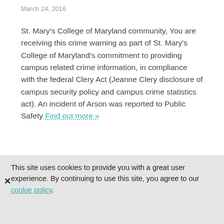March 24, 2016
St. Mary's College of Maryland community, You are receiving this crime warning as part of St. Mary's College of Maryland's commitment to providing campus related crime information, in compliance with the federal Clery Act (Jeanne Clery disclosure of campus security policy and campus crime statistics act). An incident of Arson was reported to Public Safety Find out more »
Filed Under: Timely Warnings
[Figure (other): Red banner with white text: EXPLORE OUR VISIT OPTIONS]
Timely Warning 7-33
This site uses cookies to provide you with a great user experience. By continuing to use this site, you agree to our cookie policy.